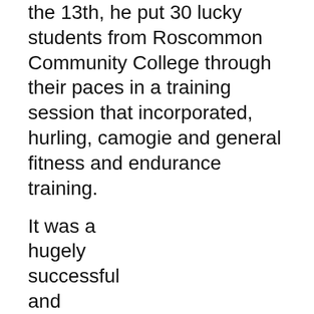the 13th, he put 30 lucky students from Roscommon Community College through their paces in a training session that incorporated, hurling, camogie and general fitness and endurance training.
It was a hugely successful and enjoyable occasion for the students and Davy, who commented: “It was great fun to team up with Londis and deliver the coaching session to the students. I hope it was as enjoyable for them as it was